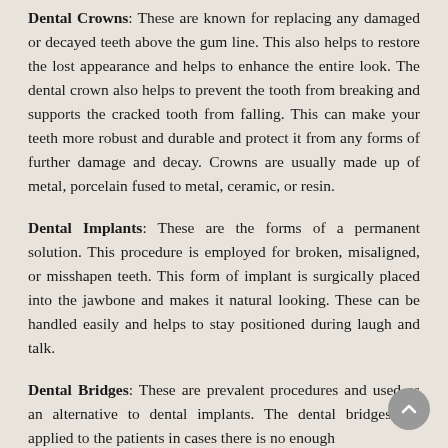Dental Crowns: These are known for replacing any damaged or decayed teeth above the gum line. This also helps to restore the lost appearance and helps to enhance the entire look. The dental crown also helps to prevent the tooth from breaking and supports the cracked tooth from falling. This can make your teeth more robust and durable and protect it from any forms of further damage and decay. Crowns are usually made up of metal, porcelain fused to metal, ceramic, or resin.
Dental Implants: These are the forms of a permanent solution. This procedure is employed for broken, misaligned, or misshapen teeth. This form of implant is surgically placed into the jawbone and makes it natural looking. These can be handled easily and helps to stay positioned during laugh and talk.
Dental Bridges: These are prevalent procedures and used as an alternative to dental implants. The dental bridges are applied to the patients in cases there is no enough